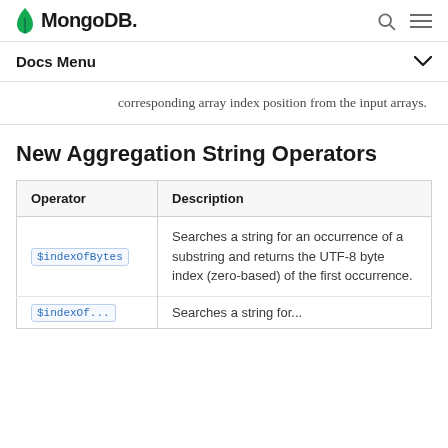MongoDB  [search icon] [menu icon]
Docs Menu ▾
corresponding array index position from the input arrays.
New Aggregation String Operators
| Operator | Description |
| --- | --- |
| $indexOfBytes | Searches a string for an occurrence of a substring and returns the UTF-8 byte index (zero-based) of the first occurrence. |
| $indexOf... | Searches a string for... |